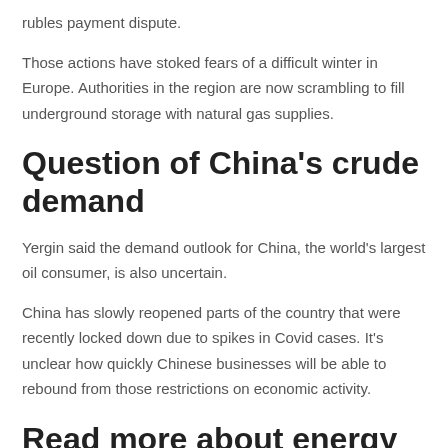rubles payment dispute.
Those actions have stoked fears of a difficult winter in Europe. Authorities in the region are now scrambling to fill underground storage with natural gas supplies.
Question of China's crude demand
Yergin said the demand outlook for China, the world's largest oil consumer, is also uncertain.
China has slowly reopened parts of the country that were recently locked down due to spikes in Covid cases. It's unclear how quickly Chinese businesses will be able to rebound from those restrictions on economic activity.
Read more about energy from CNBC Pro